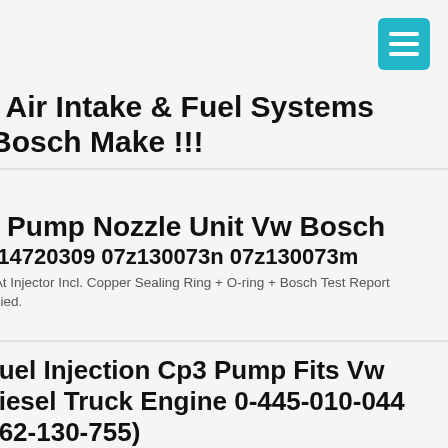[Figure (other): Teal/cyan hamburger menu button in top-right corner]
Air Intake & Fuel Systems Bosch Make !!!
Pump Nozzle Unit Vw Bosch 14720309 07z130073n 07z130073m
At Injector Incl. Copper Sealing Ring + O-ring + Bosch Test Report plied.
uel Injection Cp3 Pump Fits Vw iesel Truck Engine 0-445-010-044 62-130-755)